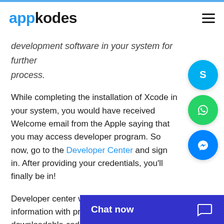appkodes
development software in your system for further process.
While completing the installation of Xcode in your system, you would have received Welcome email from the Apple saying that you may access developer program. So now, go to the Developer Center and sign in. After providing your credentials, you'll finally be in!
Developer center will provide you information with programming guides, downloadable code, documentation, vide...